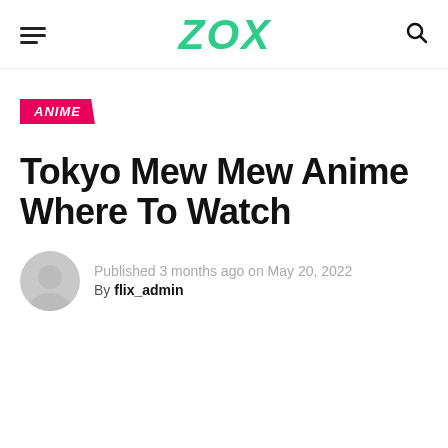ZOX
ANIME
Tokyo Mew Mew Anime Where To Watch
Published 3 months ago on May 20, 2022
By flix_admin